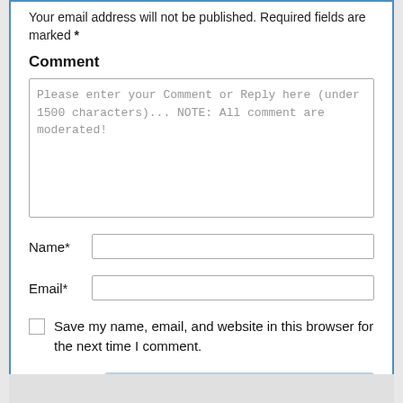Your email address will not be published. Required fields are marked *
Comment
Please enter your Comment or Reply here (under 1500 characters)... NOTE: All comment are moderated!
Name*
Email*
Save my name, email, and website in this browser for the next time I comment.
Post Comment